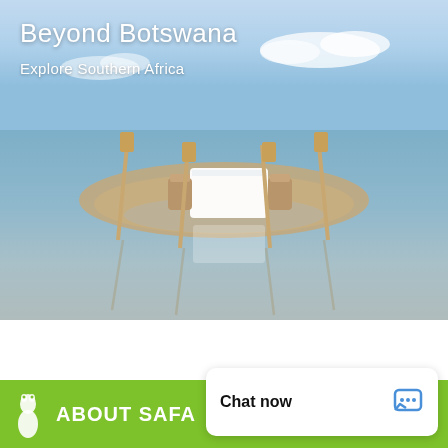[Figure (photo): Outdoor dining setup on a wet beach sandbar with two wicker chairs and a white-clothed table, four tall bamboo torches, reflecting in shallow water under a blue sky with clouds]
Beyond Botswana
Explore Southern Africa
ABOUT SAFA
Chat now